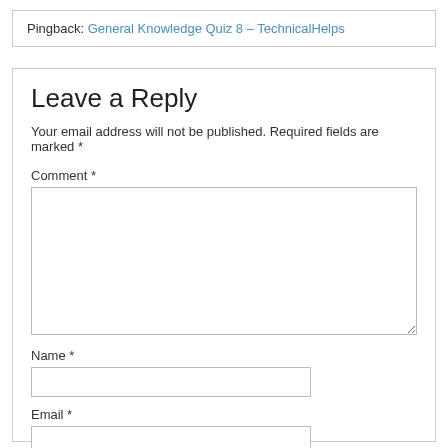Pingback: General Knowledge Quiz 8 – TechnicalHelps
Leave a Reply
Your email address will not be published. Required fields are marked *
Comment *
Name *
Email *
Website
Save my name, email, and website in this browser for the next time